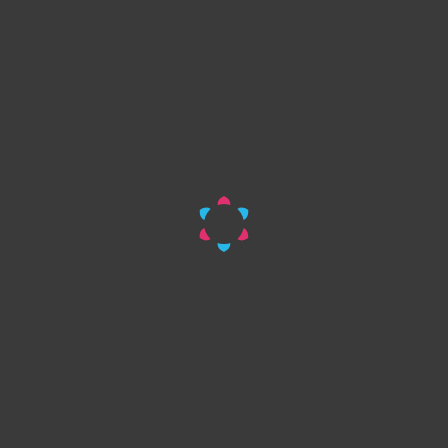[Figure (logo): A circular logo made of alternating pink/magenta and cyan/blue petal-shaped segments arranged in a ring on a dark grey background, resembling a donut or loading spinner shape.]